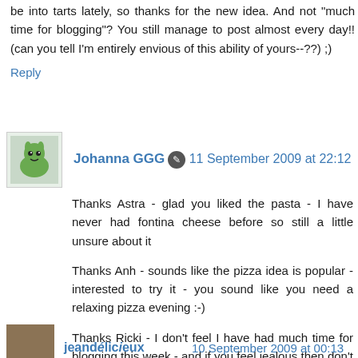be into tarts lately, so thanks for the new idea. And not "much time for blogging"? You still manage to post almost every day!! (can you tell I'm entirely envious of this ability of yours--??) ;)
Reply
Johanna GGG  11 September 2009 at 22:12
Thanks Astra - glad you liked the pasta - I have never had fontina cheese before so still a little unsure about it
Thanks Anh - sounds like the pizza idea is popular - interested to try it - you sound like you need a relaxing pizza evening :-)
Thanks Ricki - I don't feel I have had much time for blogging this week - and if you feel jealous then don't forget about your cookbook - now that is a huge achievement!
Reply